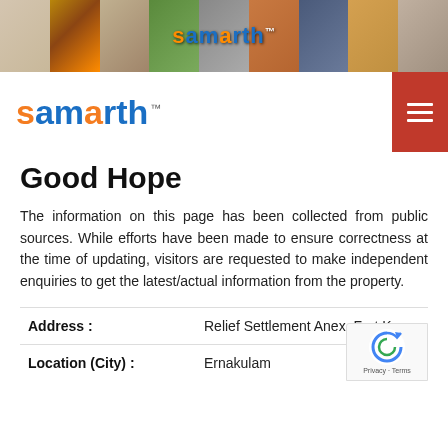[Figure (photo): Header image strip with multiple photos of elderly people and outdoor scenes, with 'samarth' logo overlaid in center]
[Figure (logo): Samarth logo in orange and blue colors with TM mark, alongside a red hamburger menu button]
Good Hope
The information on this page has been collected from public sources. While efforts have been made to ensure correctness at the time of updating, visitors are requested to make independent enquiries to get the latest/actual information from the property.
| Address : | Relief Settlement Anex, Fort Koc... |
| Location (City) : | Ernakulam |